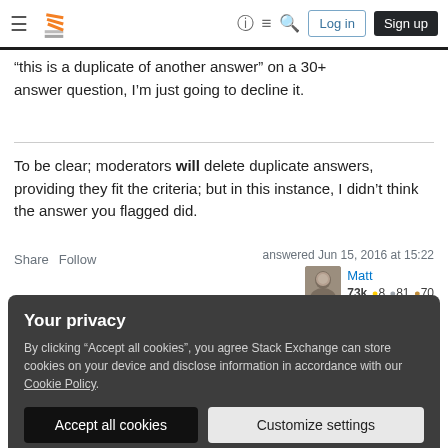Stack Exchange navigation bar with hamburger menu, logo, help, chat, search icons, Log in and Sign up buttons
"this is a duplicate of another answer" on a 30+ answer question, I'm just going to decline it.
To be clear; moderators will delete duplicate answers, providing they fit the criteria; but in this instance, I didn't think the answer you flagged did.
Share  Follow   answered Jun 15, 2016 at 15:22  Matt  73k  8  81  70
Your privacy
By clicking "Accept all cookies", you agree Stack Exchange can store cookies on your device and disclose information in accordance with our Cookie Policy.
Accept all cookies   Customize settings
not but one is just a bad version of the original, as